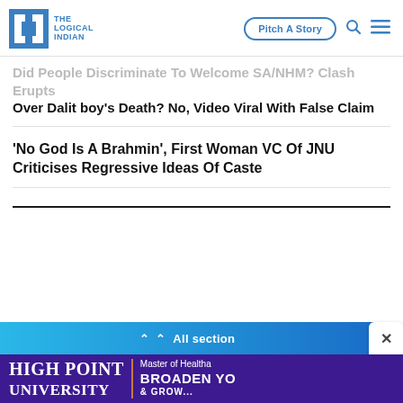The Logical Indian | Pitch A Story
Did People Discriminate to Welcome SA/NHM? Clash Erupts Over Dalit boy's Death? No, Video Viral With False Claim
'No God Is A Brahmin', First Woman VC Of JNU Criticises Regressive Ideas Of Caste
[Figure (screenshot): All section navigation bar with close button]
[Figure (illustration): High Point University advertisement banner - Master of Health, Broaden Your...]